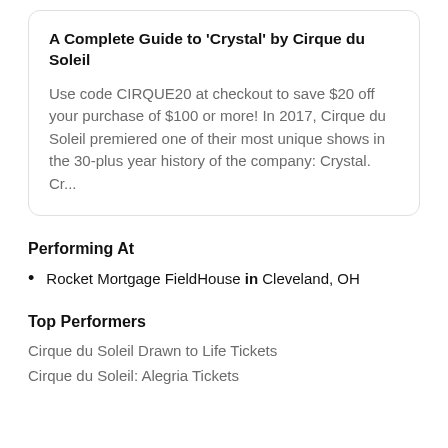A Complete Guide to 'Crystal' by Cirque du Soleil
Use code CIRQUE20 at checkout to save $20 off your purchase of $100 or more! In 2017, Cirque du Soleil premiered one of their most unique shows in the 30-plus year history of the company: Crystal.  Cr...
Performing At
Rocket Mortgage FieldHouse in Cleveland, OH
Top Performers
Cirque du Soleil Drawn to Life Tickets
Cirque du Soleil: Alegria Tickets